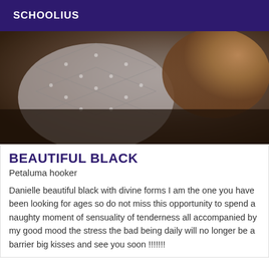SCHOOLIUS
[Figure (photo): Close-up photo of a person with a patterned pillow or cushion in low lighting]
BEAUTIFUL BLACK
Petaluma hooker
Danielle beautiful black with divine forms I am the one you have been looking for ages so do not miss this opportunity to spend a naughty moment of sensuality of tenderness all accompanied by my good mood the stress the bad being daily will no longer be a barrier big kisses and see you soon !!!!!!!